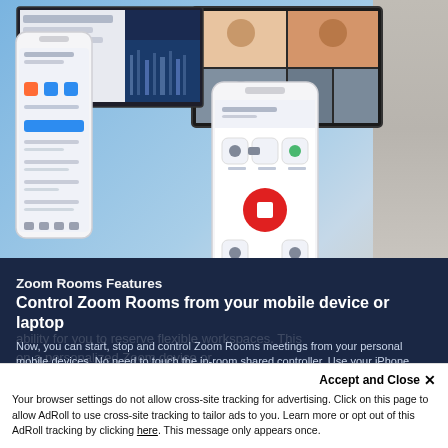[Figure (screenshot): Zoom app interface screenshots showing two smartphone mockups and a video conferencing monitor, on a blue background with a gray wall section on the right. Left phone shows Zoom meeting list UI; right phone shows an active meeting controls screen with record button; top center shows a video meeting with multiple participants on a monitor screen.]
Zoom Rooms Features
Control Zoom Rooms from your mobile device or laptop
Now, you can start, stop and control Zoom Rooms meetings from your personal mobile devices. No need to touch the in-room shared controller. Use your iPhone, Android, or laptop to easily pair to your local
Zoom Room
Accept and Close ✕
Your browser settings do not allow cross-site tracking for advertising. Click on this page to allow AdRoll to use cross-site tracking to tailor ads to you. Learn more or opt out of this AdRoll tracking by clicking here. This message only appears once.